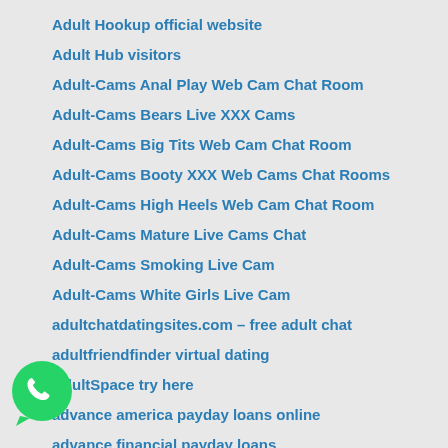Adult Hookup official website
Adult Hub visitors
Adult-Cams Anal Play Web Cam Chat Room
Adult-Cams Bears Live XXX Cams
Adult-Cams Big Tits Web Cam Chat Room
Adult-Cams Booty XXX Web Cams Chat Rooms
Adult-Cams High Heels Web Cam Chat Room
Adult-Cams Mature Live Cams Chat
Adult-Cams Smoking Live Cam
Adult-Cams White Girls Live Cam
adultchatdatingsites.com – free adult chat
adultfriendfinder virtual dating
AdultSpace try here
advance america payday loans online
advance financial payday loans